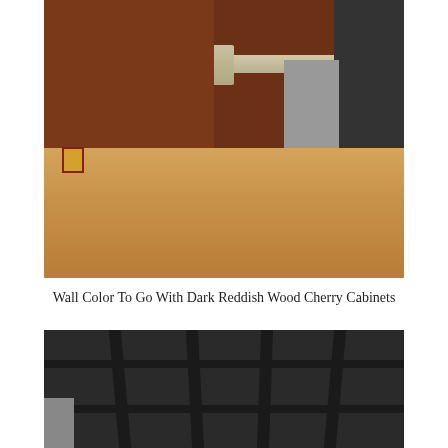[Figure (photo): Kitchen interior with dark reddish cherry wood cabinets, granite countertop island, light hardwood flooring, stainless steel dishwasher, and black refrigerator]
Wall Color To Go With Dark Reddish Wood Cherry Cabinets
[Figure (photo): Dark industrial-style ceiling with exposed beams and joists painted dark gray/black]